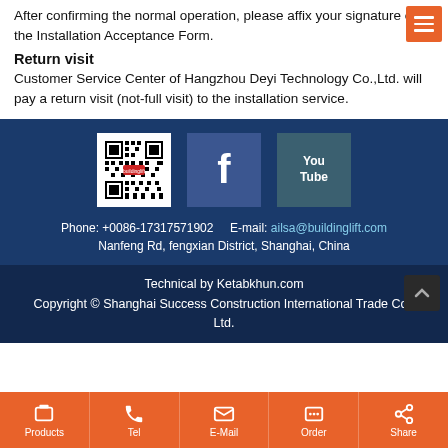After confirming the normal operation, please affix your signature on the Installation Acceptance Form.
Return visit
Customer Service Center of Hangzhou Deyi Technology Co.,Ltd. will pay a return visit (not-full visit) to the installation service.
[Figure (other): Footer section with QR code, Facebook icon, YouTube icon, contact info: Phone: +0086-17317571902, E-mail: ailsa@buildinglift.com, Nanfeng Rd, fengxian District, Shanghai, China]
Technical by Ketabkhun.com
Copyright © Shanghai Success Construction International Trade Co., Ltd.
Products | Tel | E-Mail | Order | Share